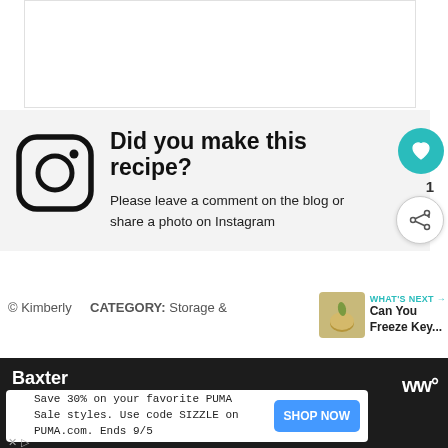[Figure (other): White rectangle area at top, likely image placeholder]
Did you make this recipe? Please leave a comment on the blog or share a photo on Instagram
© Kimberly
CATEGORY: Storage &
WHAT'S NEXT → Can You Freeze Key...
Baxter
Save 30% on your favorite PUMA Sale styles. Use code SIZZLE on PUMA.com. Ends 9/5
SHOP NOW